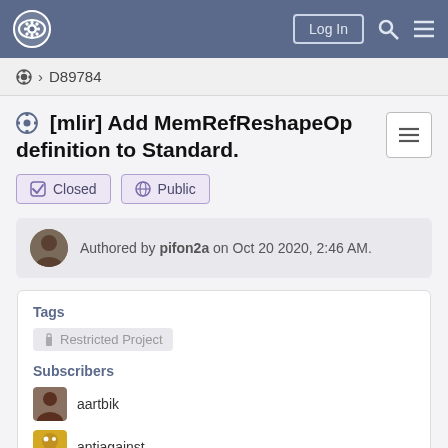Phabricator navigation bar with logo, Log In button, search and menu icons
⚙ > D89784
[mlir] Add MemRefReshapeOp definition to Standard.
✔ Closed   🌐 Public
Authored by pifon2a on Oct 20 2020, 2:46 AM.
Tags
🔒 Restricted Project
Subscribers
aartbik
antiagainst
arpith-jacob
grosul1